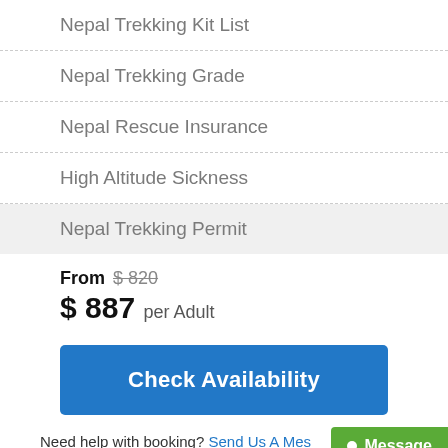Nepal Trekking Kit List
Nepal Trekking Grade
Nepal Rescue Insurance
High Altitude Sickness
Nepal Trekking Permit
From  $ 820
$ 887 per Adult
Check Availability
Need help with booking? Send Us A Mes...
Message